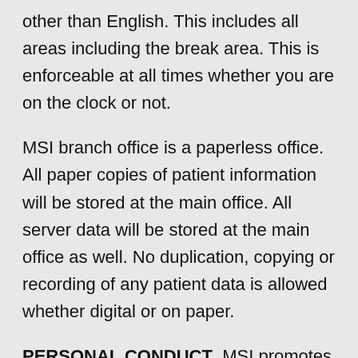other than English. This includes all areas including the break area. This is enforceable at all times whether you are on the clock or not.
MSI branch office is a paperless office. All paper copies of patient information will be stored at the main office. All server data will be stored at the main office as well. No duplication, copying or recording of any patient data is allowed whether digital or on paper.
PERSONAL CONDUCT. MSI promotes a respectful, considerate and safe working,environment. As an employee you are responsible to conduct yourself in a professional business manner. Gossip, negative personal comments, distraction of other employees from their work, disruptive, antagonistic, or inconsiderate behaviour is considered misconduct. This behaviour is disruptive to